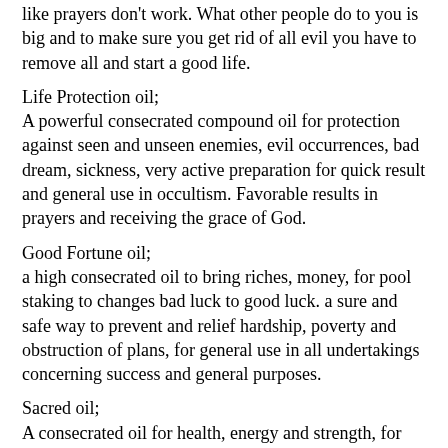like prayers don't work. What other people do to you is big and to make sure you get rid of all evil you have to remove all and start a good life.
Life Protection oil;
A powerful consecrated compound oil for protection against seen and unseen enemies, evil occurrences, bad dream, sickness, very active preparation for quick result and general use in occultism. Favorable results in prayers and receiving the grace of God.
Good Fortune oil;
a high consecrated oil to bring riches, money, for pool staking to changes bad luck to good luck. a sure and safe way to prevent and relief hardship, poverty and obstruction of plans, for general use in all undertakings concerning success and general purposes.
Sacred oil;
A consecrated oil for health, energy and strength, for defense and protection against deadly and incurable diseases and also the assault of evil spirit and favorable results in prayers, for conjuration, for special exorcism and for blessing of Church, Mosque, dwelling House, shops and stores.
Exams oil;
anoint it on your face and hand before going into exam-hall, you are sure to succeed, it will bring you good favors and fortune so